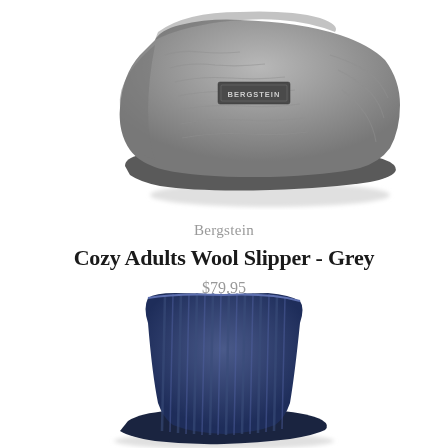[Figure (photo): Grey wool slipper boot with Bergstein label, viewed from the side, top portion visible against white background]
Bergstein
Cozy Adults Wool Slipper - Grey
$79.95
[Figure (photo): Navy blue knit slipper boot, bottom portion visible against white background]